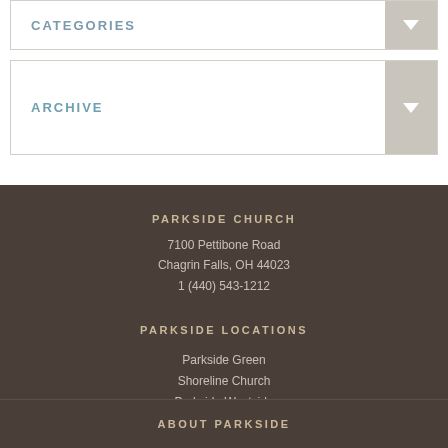CATEGORIES
ARCHIVE
PARKSIDE CHURCH
7100 Pettibone Road
Chagrin Falls, OH 44023
1 (440) 543-1212
PARKSIDE LOCATIONS
Parkside Green
Shoreline Church
Parkside Westside
Parkside Heights Church
ABOUT PARKSIDE